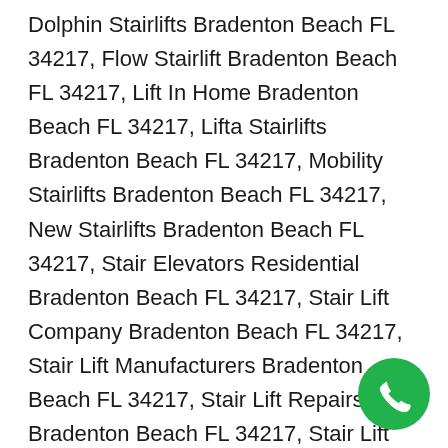Dolphin Stairlifts Bradenton Beach FL 34217, Flow Stairlift Bradenton Beach FL 34217, Lift In Home Bradenton Beach FL 34217, Lifta Stairlifts Bradenton Beach FL 34217, Mobility Stairlifts Bradenton Beach FL 34217, New Stairlifts Bradenton Beach FL 34217, Stair Elevators Residential Bradenton Beach FL 34217, Stair Lift Company Bradenton Beach FL 34217, Stair Lift Manufacturers Bradenton Beach FL 34217, Stair Lift Repairs Bradenton Beach FL 34217, Stair Lift Services Bradenton Beach FL 34217, Stair Lift Stannah Bradenton Beach FL 34217, Stairlift Companies Bradenton Beach FL 34217, Stairlift Installation Bradenton Beach FL 34217, Stair Maintenance Bradenton Beach FL 34217, Stairlift